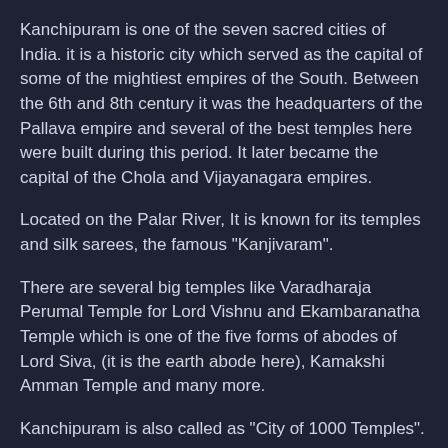Kanchipuram is one of the seven sacred cities of India. it is a historic city which served as the capital of some of the mightiest empires of the South. Between the 6th and 8th century it was the headquarters of the Pallava empire and several of the best temples here were built during this period. It later became the capital of the Chola and Vijayanagara empires.
Located on the Palar River, It is known for its temples and silk sarees, the famous "Kanjivaram".
There are several big temples like Varadharaja Perumal Temple for Lord Vishnu and Ekambaranatha Temple which is one of the five forms of abodes of Lord Siva, (it is the earth abode here), Kamakshi Amman Temple and many more.
Kanchipuram is also called as "City of 1000 Temples".
Kanchipuram is one of the oldest cities in India, and is believed to be visited by Xuanzang (Hsuan Tsang). It was during the reign of Pallava dynasty, from the 4th to the 9th centuries that Kanchipuram attained its limelight.